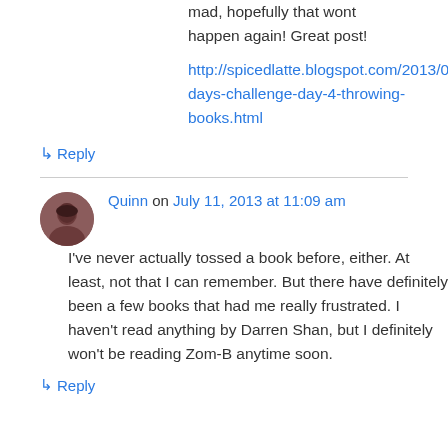mad, hopefully that wont happen again! Great post!
http://spicedlatte.blogspot.com/2013/07/15-days-challenge-day-4-throwing-books.html
↳ Reply
Quinn on July 11, 2013 at 11:09 am
I've never actually tossed a book before, either. At least, not that I can remember. But there have definitely been a few books that had me really frustrated. I haven't read anything by Darren Shan, but I definitely won't be reading Zom-B anytime soon.
↳ Reply